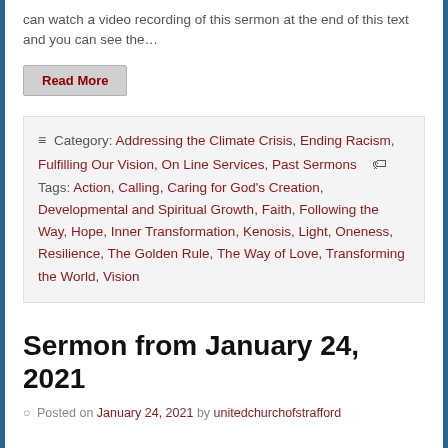can watch a video recording of this sermon at the end of this text and you can see the…
Read More
Category: Addressing the Climate Crisis, Ending Racism, Fulfilling Our Vision, On Line Services, Past Sermons  Tags: Action, Calling, Caring for God's Creation, Developmental and Spiritual Growth, Faith, Following the Way, Hope, Inner Transformation, Kenosis, Light, Oneness, Resilience, The Golden Rule, The Way of Love, Transforming the World, Vision
Sermon from January 24, 2021
Posted on January 24, 2021 by unitedchurchofstrafford